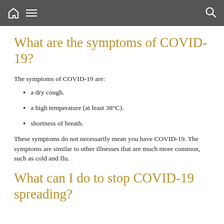Navigation bar with home, menu, and search icons
What are the symptoms of COVID-19?
The symptoms of COVID-19 are:
a dry cough.
a high temperature (at least 38°C).
shortness of breath.
These symptoms do not necessarily mean you have COVID-19. The symptoms are similar to other illnesses that are much more common, such as cold and flu.
What can I do to stop COVID-19 spreading?